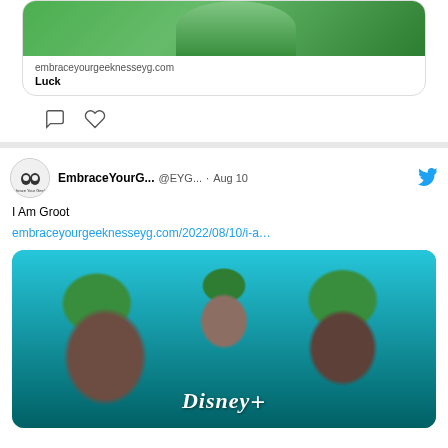[Figure (screenshot): Top portion of tweet showing link preview card for 'embraceyourgeeknesseyg.com' with title 'Luck' and a green-themed image, plus comment and like icons below]
[Figure (screenshot): Tweet by EmbraceYourG... (@EYG...) dated Aug 10 about 'I Am Groot' with a link to embraceyourgeeknesseyg.com/2022/08/10/i-a... and a Disney+ promotional image showing Groot characters]
embraceyourgeeknesseyg.com
Luck
EmbraceYourG...
@EYG...
Aug 10
I Am Groot
embraceyourgeeknesseyg.com/2022/08/10/i-a…